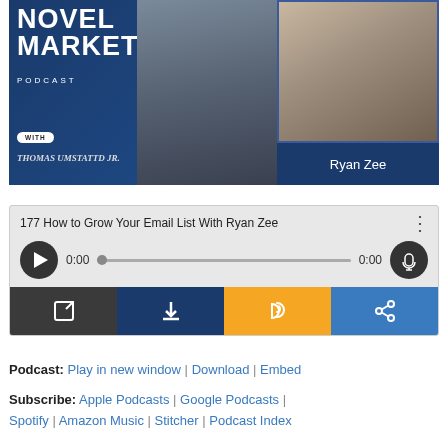[Figure (photo): Novel Marketing Podcast cover art with Thomas Umstattd Jr. and guest Ryan Zee. Left side shows a man in a blazer on a blue background with the text NOVEL MARKETING PODCAST WITH THOMAS UMSTATTD JR. Right side shows a smiling man in glasses labeled Ryan Zee.]
[Figure (screenshot): Embedded audio player showing episode '177 How to Grow Your Email List With Ryan Zee' with play button, time display 0:00, progress bar, volume icon, and four action buttons: open in new window, download, RSS feed, and share.]
Podcast: Play in new window | Download | Embed
Subscribe: Apple Podcasts | Google Podcasts | Spotify | Amazon Music | Stitcher | Podcast Index